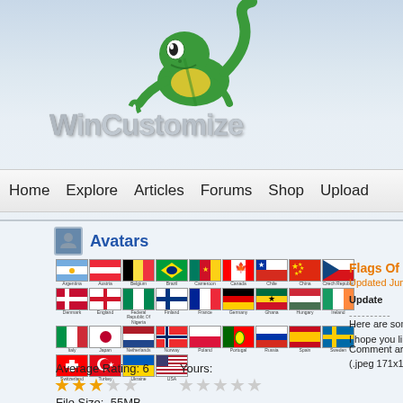[Figure (logo): WinCustomize logo with green gecko mascot and stylized text 'WinCustomize']
Home   Explore   Articles   Forums   Shop   Upload
Avatars
[Figure (illustration): Grid of country flag icons: Argentina, Austria, Belgium, Brazil, Cameroon, Canada, Chile, China, Czech Republic, Denmark, England, Federal Republic of Nigeria, Finland, France, Germany, Ghana, Hungary, Ireland, Italy, Japan, Netherlands, Norway, Poland, Portugal, Russia, Spain, Sweden, Switzerland, Turkey, Ukraine, USA]
Flags Of Our F
Updated Jun 28, 2
Update
----------
Here are some Flags
I hope you like it.
Comment are Welcom
(.jpeg 171x171)
Average Rating: 6
Yours:
File Size: .55MB
Download Today: 0   Download Total: 000